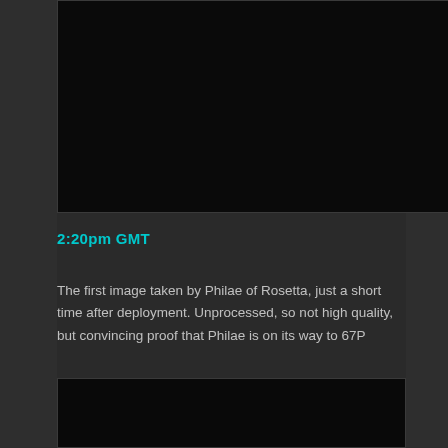[Figure (photo): Dark/black image area at top — first image taken by Philae of Rosetta shortly after deployment, unprocessed]
2:20pm GMT
The first image taken by Philae of Rosetta, just a short time after deployment. Unprocessed, so not high quality, but convincing proof that Philae is on its way to 67P
[Figure (photo): Dark/black image area at bottom of page — second space image placeholder]